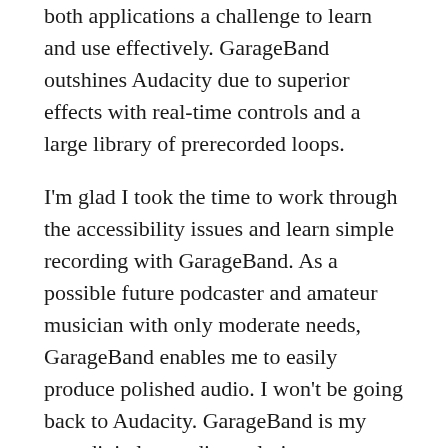both applications a challenge to learn and use effectively. GarageBand outshines Audacity due to superior effects with real-time controls and a large library of prerecorded loops.
I'm glad I took the time to work through the accessibility issues and learn simple recording with GarageBand. As a possible future podcaster and amateur musician with only moderate needs, GarageBand enables me to easily produce polished audio. I won't be going back to Audacity. GarageBand is my new digital recording solution.
GarageBand has several features I've barely begun to explore, providing opportunity for future blogs. I'll post about Loops, Regions, and other features as my knowledge grows. You can look forward to future articles on editing, mixing and mastering, and